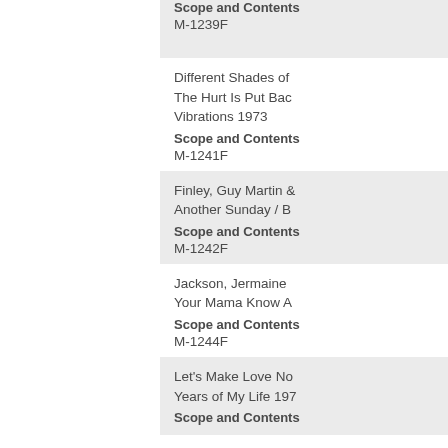Scope and Contents
M-1239F
Different Shades of The Hurt Is Put Back Vibrations 1973
Scope and Contents
M-1241F
Finley, Guy Martin & Another Sunday / B
Scope and Contents
M-1242F
Jackson, Jermaine Your Mama Know A
Scope and Contents
M-1244F
Let's Make Love No Years of My Life 197
Scope and Contents